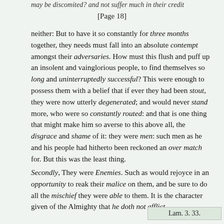may be discomited? and not suffer much in their credit
[Page 18]
neither: But to have it so constantly for three months together, they needs must fall into an absolute contempt amongst their adversaries. How must this flush and puff up an insolent and vainglorious people, to find themselves so long and uninterruptedly successful? This were enough to possess them with a belief that if ever they had been stout, they were now utterly degenerated; and would never stand more, who were so constantly routed: and that is one thing that might make him so averse to this above all, the disgrace and shame of it: they were men: such men as he and his people had hitherto been reckoned an over match for. But this was the least thing.
Secondly, They were Enemies. Such as would rejoyce in an opportunity to reak their malice on them, and be sure to do all the mischief they were able to them. It is the character given of the Almighty that he doth not afflict
Lam. 3. 33.